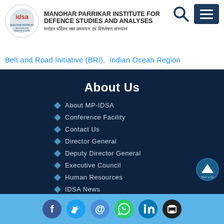MANOHAR PARRIKAR INSTITUTE FOR DEFENCE STUDIES AND ANALYSES | मनोहर पर्रिकर रक्षा अध्ययन एवं विश्लेषण संस्थान
Belt and Road Initiative (BRI), Indian Ocean Region
About Us
About MP-IDSA
Conference Facility
Contact Us
Director General
Deputy Director General
Executive Council
Human Resources
IDSA News
Social media links: Facebook, Twitter, Email, WhatsApp, LinkedIn, Print